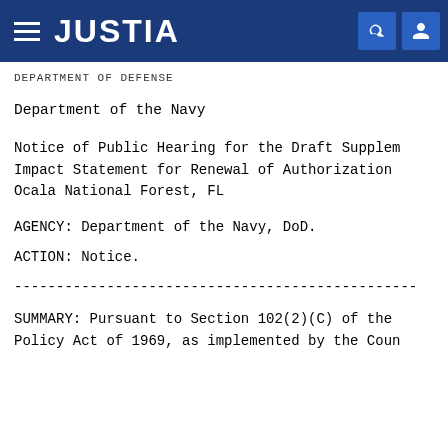JUSTIA
DEPARTMENT OF DEFENSE
Department of the Navy
Notice of Public Hearing for the Draft Supplemental Environmental Impact Statement for Renewal of Authorization to Operate in Ocala National Forest, FL
AGENCY: Department of the Navy, DoD.
ACTION: Notice.
------------------------------------------------------------------------
SUMMARY: Pursuant to Section 102(2)(C) of the National Environmental Policy Act of 1969, as implemented by the Council on Environmental Quality